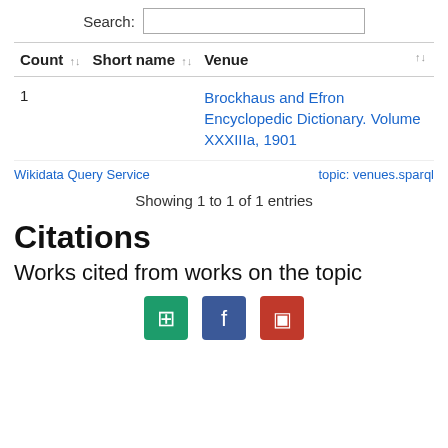Search:
| Count | Short name | Venue |
| --- | --- | --- |
| 1 |  | Brockhaus and Efron Encyclopedic Dictionary. Volume XXXIIIa, 1901 |
Wikidata Query Service
topic: venues.sparql
Showing 1 to 1 of 1 entries
Citations
Works cited from works on the topic
[Figure (other): Three social media sharing icons: green, blue, and red square buttons with white icons]